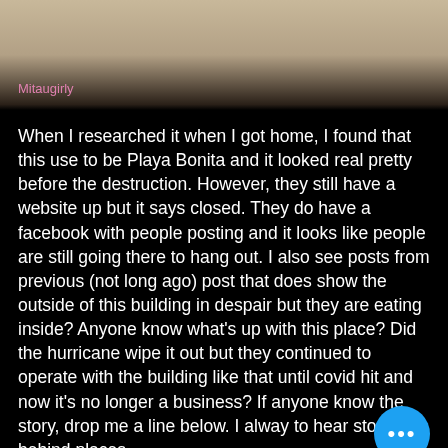[Figure (photo): Top portion of a beach or sandy outdoor area photo with watermark text 'Mitaugirly' in pink cursive at the bottom left]
When I researched it when I got home, I found that this use to be Playa Bonita and it looked real pretty before the destruction. However, they still have a website up but it says closed. They do have a facebook with people posting and it looks like people are still going there to hang out. I also see posts from previous (not long ago) post that does show the outside of this building in despair but they are eating inside? Anyone know what's up with this place? Did the hurricane wipe it out but they continued to operate with the building like that until covid hit and now it's no longer a business? If anyone know the story, drop me a line below. I alway to hear stories behind places.